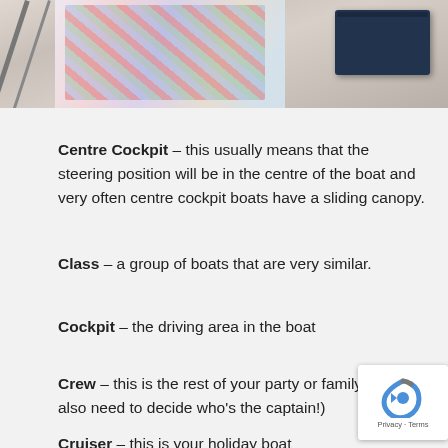[Figure (photo): Partial photo at top of page showing people on a boat, with floral clothing and a dark tablet/book visible]
Centre Cockpit – this usually means that the steering position will be in the centre of the boat and very often centre cockpit boats have a sliding canopy.
Class – a group of boats that are very similar.
Cockpit – the driving area in the boat
Crew – this is the rest of your party or family (you will also need to decide who's the captain!)
Cruiser – this is your holiday boat